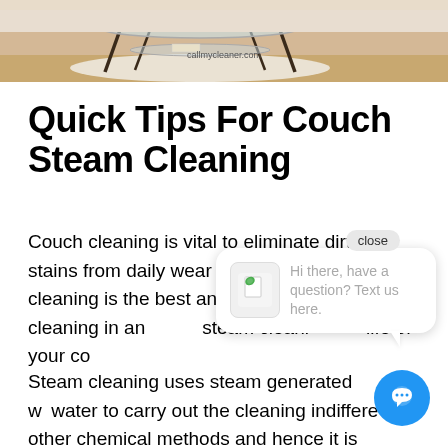[Figure (photo): Hero image of a glass coffee table on a light wood floor with a white rug, watermarked with callmycleaner.com]
Quick Tips For Couch Steam Cleaning
Couch cleaning is vital to eliminate dirt and stains from daily wear and tear. Couch steam cleaning is the best and efficient way of cleaning in an... steam cleaning... life of your co...
Steam cleaning uses steam generated w... water to carry out the cleaning indiffere... to other chemical methods and hence it is